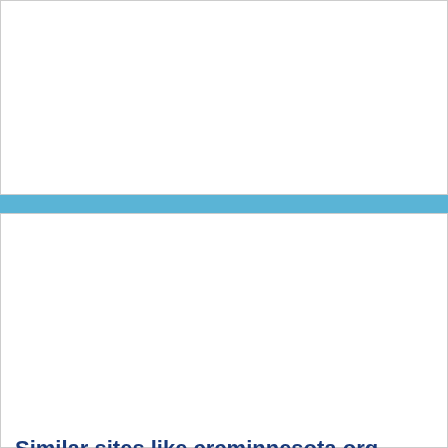[Figure (screenshot): White blank top section area]
Similar sites like crcminnesota.org
[Figure (screenshot): Screenshot of crcminnesota.org website showing CRC Conflict Resolution Center. Top bar with phone: 612.822.9883 and email: mediation@crcminnesota.org, social icons. Navigation with Services for Individuals, Services for Organizations, Locations, Events/Trainings/Community. Blue banner about Hennepin County residents needing RENT HELP due to COVID - CALL CRC at (612) 445-2973. Check out FREE MEDIATION SERVICES regarding rent, mortgage, eviction and all related topics. Call CRC at (612) 822-9883. Below the banner are images of people.]